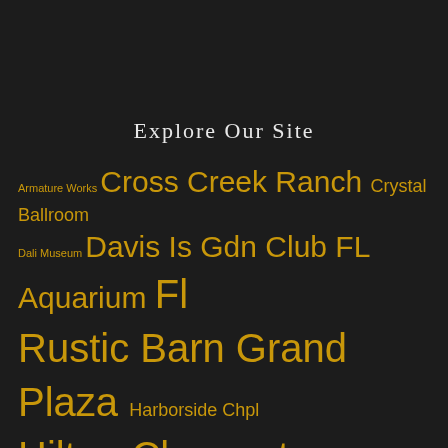Explore Our Site
Armature Works Cross Creek Ranch Crystal Ballroom Dali Museum Davis Is Gdn Club FL Aquarium Fl Rustic Barn Grand Plaza Harborside Chpl Hilton Clearwater Beach Hilton Tampa Hollis Garden Hyatt Regency Clearwater IMG Academy Indian Weddings Kapok Special Events Lange Farm Latin Weddings Little